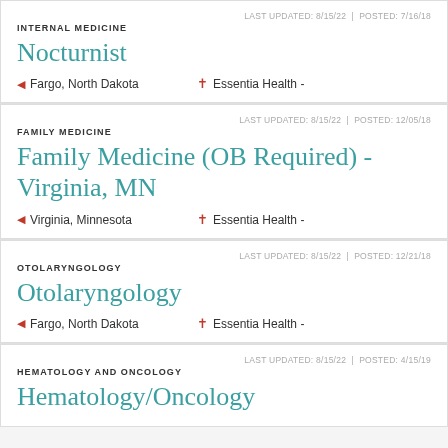LAST UPDATED: 8/15/22  |  POSTED: 7/16/18
INTERNAL MEDICINE
Nocturnist
Fargo, North Dakota   Essentia Health -
LAST UPDATED: 8/15/22  |  POSTED: 12/05/18
FAMILY MEDICINE
Family Medicine (OB Required) - Virginia, MN
Virginia, Minnesota   Essentia Health -
LAST UPDATED: 8/15/22  |  POSTED: 12/21/18
OTOLARYNGOLOGY
Otolaryngology
Fargo, North Dakota   Essentia Health -
LAST UPDATED: 8/15/22  |  POSTED: 4/15/19
HEMATOLOGY AND ONCOLOGY
Hematology/Oncology